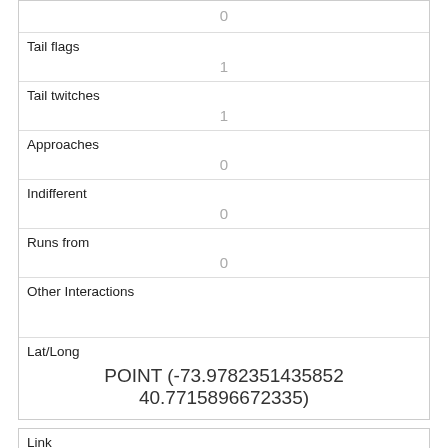| Tail flags | 1 |
| Tail twitches | 1 |
| Approaches | 0 |
| Indifferent | 0 |
| Runs from | 0 |
| Other Interactions |  |
| Lat/Long | POINT (-73.9782351435852 40.7715896672335) |
| Link | 589 |
| rowid | 589 |
| longitude |  |